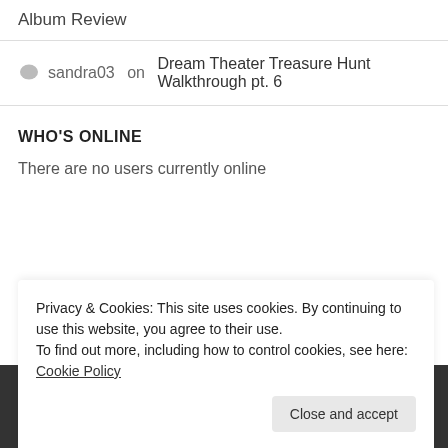Album Review
sandra03 on Dream Theater Treasure Hunt Walkthrough pt. 6
WHO'S ONLINE
There are no users currently online
[Figure (other): Up arrow chevron button on dark background bar]
Privacy & Cookies: This site uses cookies. By continuing to use this website, you agree to their use.
To find out more, including how to control cookies, see here: Cookie Policy
Close and accept